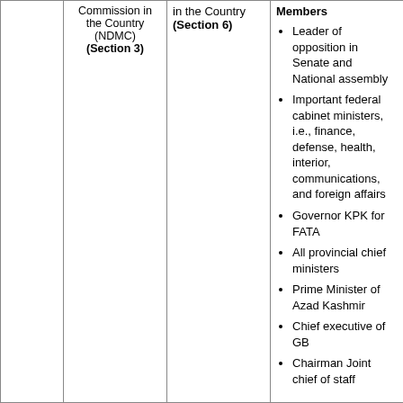|  | Commission in the Country (NDMC) (Section 3) | in the Country (Section 6) | Members |
| --- | --- | --- | --- |
|  |  |  | Leader of opposition in Senate and National assembly
Important federal cabinet ministers, i.e., finance, defense, health, interior, communications, and foreign affairs
Governor KPK for FATA
All provincial chief ministers
Prime Minister of Azad Kashmir
Chief executive of GB
Chairman Joint chief of staff |